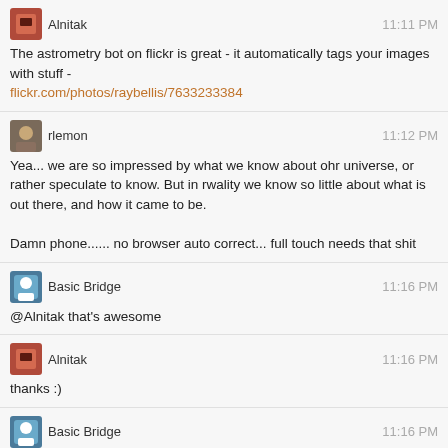Alnitak  11:11 PM
The astrometry bot on flickr is great - it automatically tags your images with stuff - flickr.com/photos/raybellis/7633233384
rlemon  11:12 PM
Yea... we are so impressed by what we know about ohr universe, or rather speculate to know. But in rwality we know so little about what is out there, and how it came to be.
Damn phone...... no browser auto correct... full touch needs that shit
Basic Bridge  11:16 PM
@Alnitak that's awesome
Alnitak  11:16 PM
thanks :)
Basic Bridge  11:16 PM
how much it cost you to buy such telescope
Alnitak  11:17 PM
actually I didn't use a telescope for that
EQ6 Pro (tracking) mount - EOS 550D, 200mm f/2.8 L lens
about £2000 worth
Basic Bridge  11:18 PM
ow that's cool.
Alnitak  11:18 PM
£600 of which is that lens